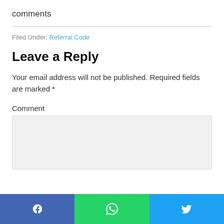comments
Filed Under: Referral Code
Leave a Reply
Your email address will not be published. Required fields are marked *
Comment
[Figure (other): Social share bar with Facebook, WhatsApp, and Twitter buttons]